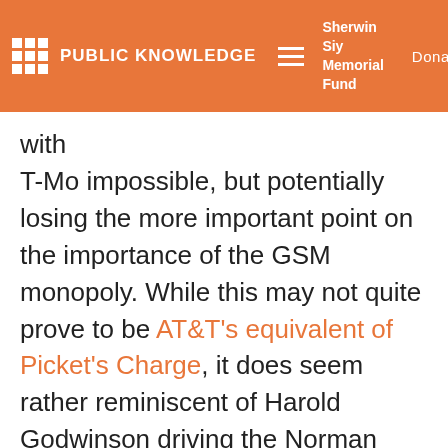PUBLIC KNOWLEDGE | Sherwin Siy Memorial Fund | Donate
with T-Mo impossible, but potentially losing the more important point on the importance of the GSM monopoly. While this may not quite prove to be AT&T's equivalent of Picket's Charge, it does seem rather reminiscent of Harold Godwinson driving the Norman sortie off his defensive position at the Battle of Hastings, only to get pulled out of position and crushed by William's